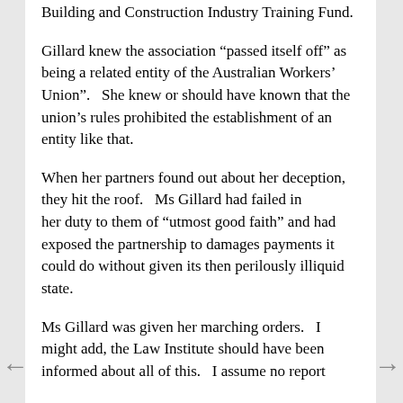Building and Construction Industry Training Fund.
Gillard knew the association “passed itself off” as being a related entity of the Australian Workers’ Union”.   She knew or should have known that the union’s rules prohibited the establishment of an entity like that.
When her partners found out about her deception, they hit the roof.   Ms Gillard had failed in
her duty to them of “utmost good faith” and had exposed the partnership to damages payments it could do without given its then perilously illiquid state.
Ms Gillard was given her marching orders.   I might add, the Law Institute should have been informed about all of this.   I assume no report